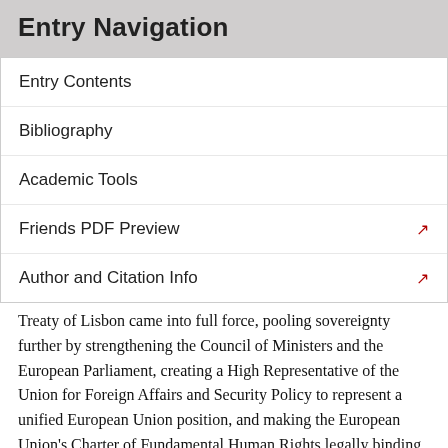Entry Navigation
Entry Contents
Bibliography
Academic Tools
Friends PDF Preview
Author and Citation Info
Treaty of Lisbon came into full force, pooling sovereignty further by strengthening the Council of Ministers and the European Parliament, creating a High Representative of the Union for Foreign Affairs and Security Policy to represent a unified European Union position, and making the European Union's Charter of Fundamental Human Rights legally binding.
This circumscription of the sovereign state, through international norms and supranational institutions, finds a parallel in contemporary philosophers who attack the